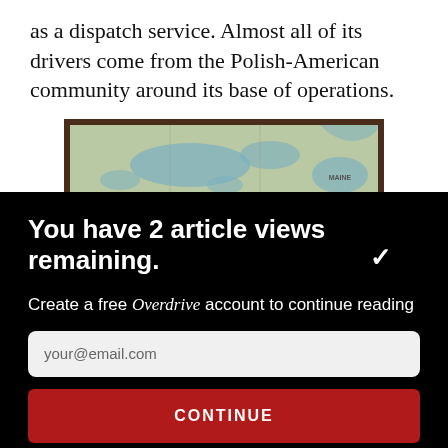as a dispatch service. Almost all of its drivers come from the Polish-American community around its base of operations.
[Figure (map): A vintage-style framed map showing the northern United States, with states including North Dakota, Minnesota, and Maine labeled, rendered in muted blue-green tones]
You have 2 article views remaining.
Create a free Overdrive account to continue reading
your@email.com
CONTINUE